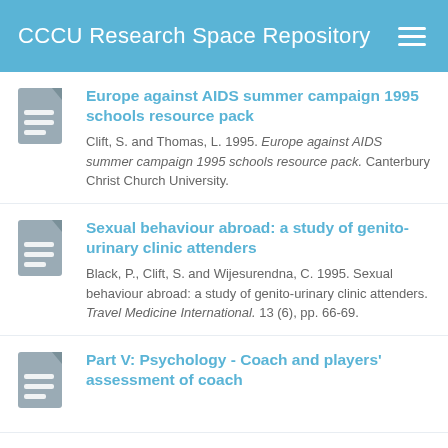CCCU Research Space Repository
Europe against AIDS summer campaign 1995 schools resource pack
Clift, S. and Thomas, L. 1995. Europe against AIDS summer campaign 1995 schools resource pack. Canterbury Christ Church University.
Sexual behaviour abroad: a study of genito-urinary clinic attenders
Black, P., Clift, S. and Wijesurendna, C. 1995. Sexual behaviour abroad: a study of genito-urinary clinic attenders. Travel Medicine International. 13 (6), pp. 66-69.
Part V: Psychology - Coach and players' assessment of coach